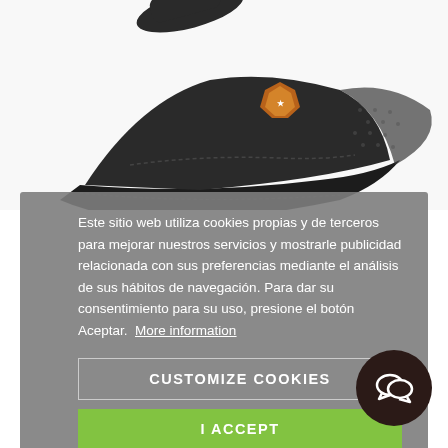[Figure (photo): Black trucker cap with mesh back and orange badge/emblem on the front, photographed from above on white background]
Este sitio web utiliza cookies propias y de terceros para mejorar nuestros servicios y mostrarle publicidad relacionada con sus preferencias mediante el análisis de sus hábitos de navegación. Para dar su consentimiento para su uso, presione el botón Aceptar.  More information
CUSTOMIZE COOKIES
I ACCEPT
RITUAL TRUCKER BLACK
Size
One Size